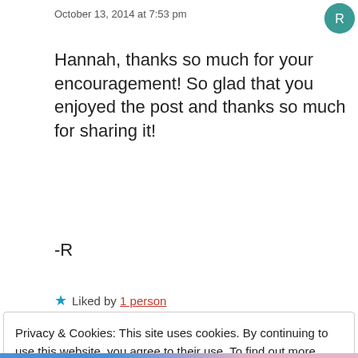October 13, 2014 at 7:53 pm
Hannah, thanks so much for your encouragement! So glad that you enjoyed the post and thanks so much for sharing it!
-R
★ Liked by 1 person
Privacy & Cookies: This site uses cookies. By continuing to use this website, you agree to their use. To find out more, including how to control cookies, see here: Cookie Policy
Close and accept